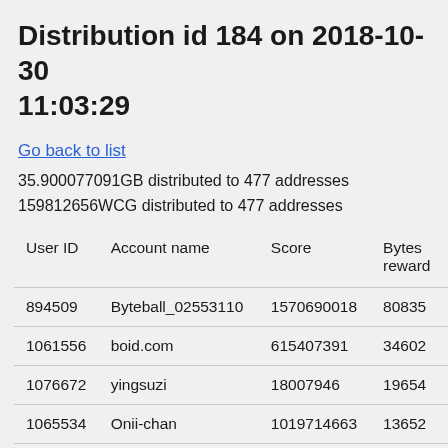Distribution id 184 on 2018-10-30 11:03:29
Go back to list
35.900077091GB distributed to 477 addresses
159812656WCG distributed to 477 addresses
| User ID | Account name | Score | Bytes rewar... |
| --- | --- | --- | --- |
| 894509 | Byteball_02553110 | 1570690018 | 80835... |
| 1061556 | boid.com | 615407391 | 34602... |
| 1076672 | yingsuzi | 18007946 | 19654... |
| 1065534 | Onii-chan | 1019714663 | 13652... |
| 125242 | stoneageman | 4265289719 | 12502... |
| 342585 | VietOZ | 1460055550 | 84755... |
| 1029620 | grcpool.com | 1129431251 | 73997... |